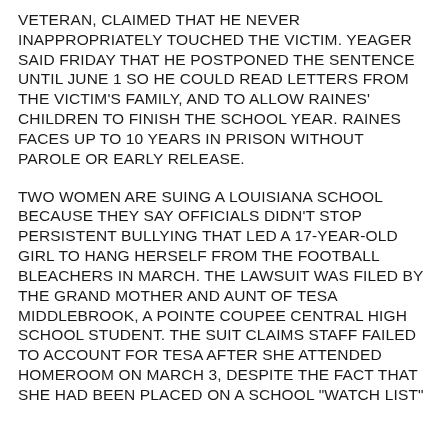VETERAN, CLAIMED THAT HE NEVER INAPPROPRIATELY TOUCHED THE VICTIM. YEAGER SAID FRIDAY THAT HE POSTPONED THE SENTENCE UNTIL JUNE 1 SO HE COULD READ LETTERS FROM THE VICTIM'S FAMILY, AND TO ALLOW RAINES' CHILDREN TO FINISH THE SCHOOL YEAR. RAINES FACES UP TO 10 YEARS IN PRISON WITHOUT PAROLE OR EARLY RELEASE.
TWO WOMEN ARE SUING A LOUISIANA SCHOOL BECAUSE THEY SAY OFFICIALS DIDN'T STOP PERSISTENT BULLYING THAT LED A 17-YEAR-OLD GIRL TO HANG HERSELF FROM THE FOOTBALL BLEACHERS IN MARCH. THE LAWSUIT WAS FILED BY THE GRAND MOTHER AND AUNT OF TESA MIDDLEBROOK, A POINTE COUPEE CENTRAL HIGH SCHOOL STUDENT. THE SUIT CLAIMS STAFF FAILED TO ACCOUNT FOR TESA AFTER SHE ATTENDED HOMEROOM ON MARCH 3, DESPITE THE FACT THAT SHE HAD BEEN PLACED ON A SCHOOL "WATCH LIST"